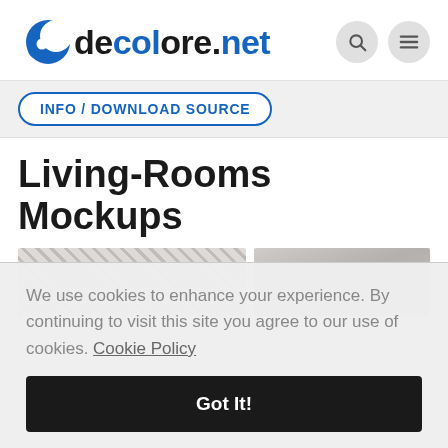decolore.net
INFO / DOWNLOAD SOURCE
Living-Rooms Mockups
[Figure (photo): Two panel image strip showing living room mockup previews — left panel has a crosshatch/checker pattern placeholder, right panel shows a grey gradient surface]
We use cookies to enhance your experience. By continuing to visit this site you agree to our use of cookies. Cookie Policy
Got It!